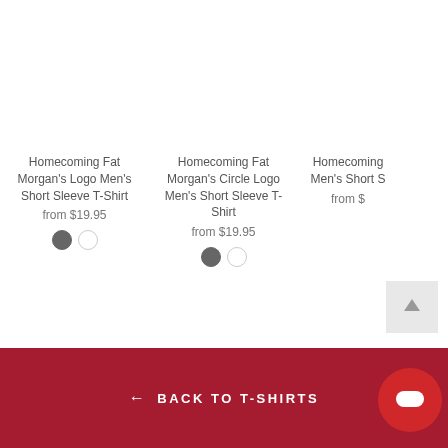[Figure (screenshot): Product card: Homecoming Fat Morgan's Logo Men's Short Sleeve T-Shirt, from $19.95, with dark gray and white color swatches]
[Figure (screenshot): Product card: Homecoming Fat Morgan's Circle Logo Men's Short Sleeve T-Shirt, from $19.95, with dark gray and white color swatches]
[Figure (screenshot): Partial product card: Homecoming Men's Short Sleeve T-Shirt, from $, partially visible on right edge]
← BACK TO T-SHIRTS